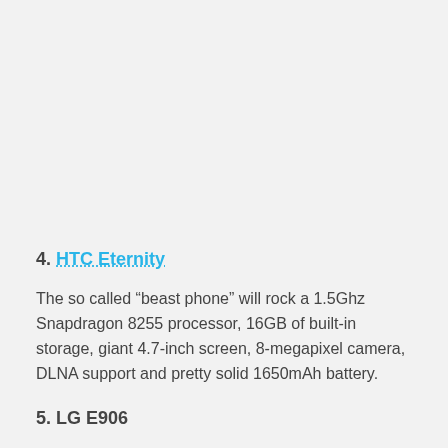4. HTC Eternity
The so called “beast phone” will rock a 1.5Ghz Snapdragon 8255 processor, 16GB of built-in storage, giant 4.7-inch screen, 8-megapixel camera, DLNA support and pretty solid 1650mAh battery.
5. LG E906
We don’t have all the details on this one and can only